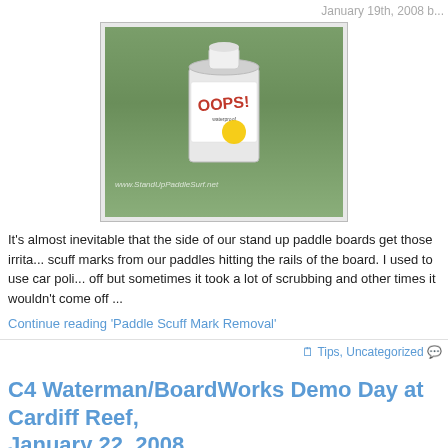January 19th, 2008 b...
[Figure (photo): A can of Oops! waterproof paint/remover product sitting on a ledge outdoors with grass in background. Watermark reads www.StandUpPaddleSurf.net]
It's almost inevitable that the side of our stand up paddle boards get those irrita... scuff marks from our paddles hitting the rails of the board. I used to use car poli... off but sometimes it took a lot of scrubbing and other times it wouldn't come off ...
Continue reading 'Paddle Scuff Mark Removal'
Tips, Uncategorized
C4 Waterman/BoardWorks Demo Day at Cardiff Reef, January 22, 2008
January 16th, 2008 b...
[Figure (photo): Banner image showing 'BALANCE ENDURANCE STRENGTH TRADITION' text on black bar over yellow background with surfer silhouette on left, and ocean wave surfing photo on right with yellow circle partially visible]